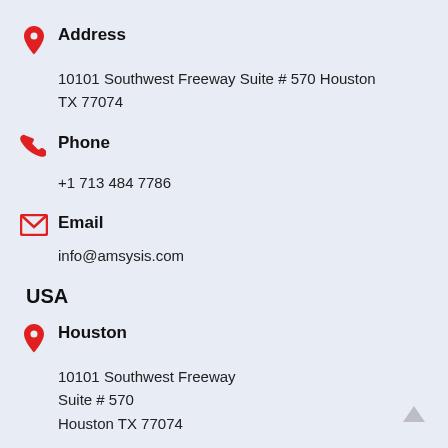Address
10101 Southwest Freeway Suite # 570 Houston TX 77074
Phone
+1 713 484 7786
Email
info@amsysis.com
USA
Houston
10101 Southwest Freeway
Suite # 570
Houston TX 77074